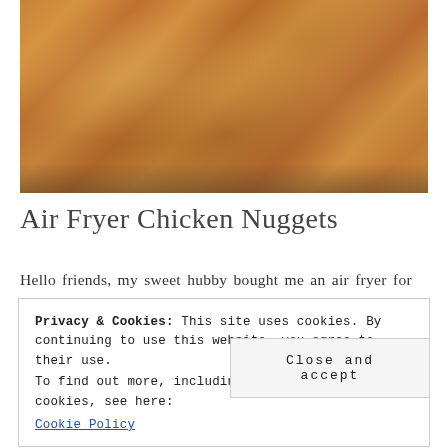[Figure (photo): Close-up photo of golden-brown crispy fried chicken nuggets in a bowl]
Air Fryer Chicken Nuggets
Hello friends, my sweet hubby bought me an air fryer for
Privacy & Cookies: This site uses cookies. By continuing to use this website, you agree to their use.
To find out more, including how to control cookies, see here:
Cookie Policy
Close and accept